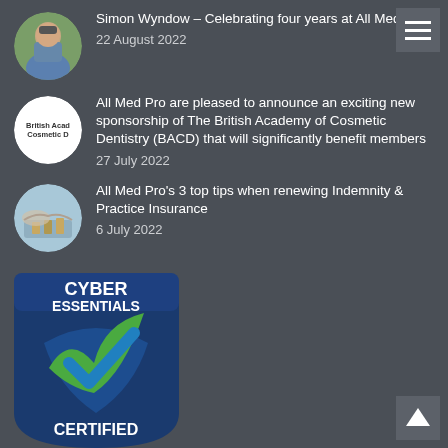Simon Wyndow – Celebrating four years at All Med Pro
22 August 2022
All Med Pro are pleased to announce an exciting new sponsorship of The British Academy of Cosmetic Dentistry (BACD) that will significantly benefit members
27 July 2022
All Med Pro's 3 top tips when renewing Indemnity & Practice Insurance
6 July 2022
[Figure (logo): Cyber Essentials Certified badge — dark blue background with green and blue checkmark, white text reading CYBER ESSENTIALS CERTIFIED]
[Figure (other): Back to top arrow button]